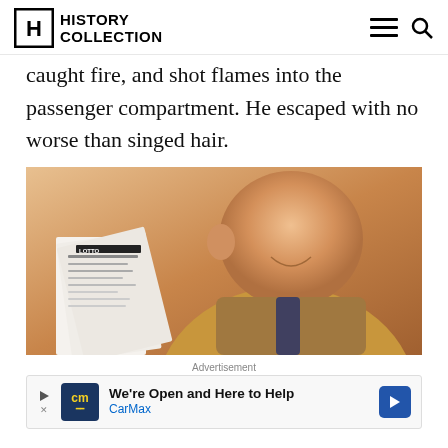History Collection
caught fire, and shot flames into the passenger compartment. He escaped with no worse than singed hair.
[Figure (photo): A smiling older man holding up lottery tickets or documents, photographed indoors with warm lighting.]
Advertisement
We're Open and Here to Help
CarMax